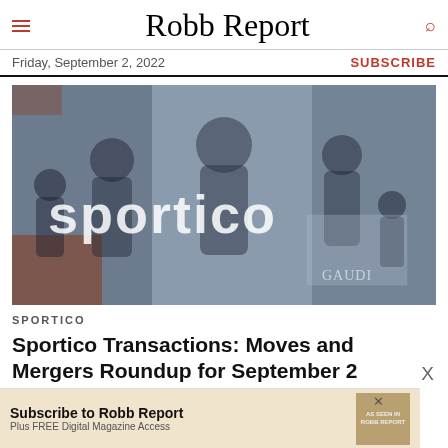Robb Report
Friday, September 2, 2022
SUBSCRIBE
[Figure (photo): Sportico branded collage image showing various sports athletes in black and white with the word 'sportico' overlaid in large text and a 'GAUDI' watermark in the lower right corner.]
SPORTICO
Sportico Transactions: Moves and Mergers Roundup for September 2
Subscribe to Robb Report
Plus FREE Digital Magazine Access